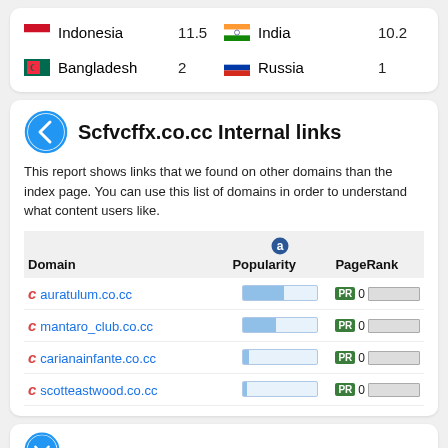| Country | Value | Country | Value |
| --- | --- | --- | --- |
| Indonesia | 11.5 | India | 10.2 |
| Bangladesh | 2 | Russia | 1 |
Scfvcffx.co.cc Internal links
This report shows links that we found on other domains than the index page. You can use this list of domains in order to understand what content users like.
| Domain | Popularity | PageRank |
| --- | --- | --- |
| auratulum.co.cc |  | PR 0 |
| mantaro_club.co.cc |  | PR 0 |
| carianainfante.co.cc |  | PR 0 |
| scotteastwood.co.cc |  | PR 0 |